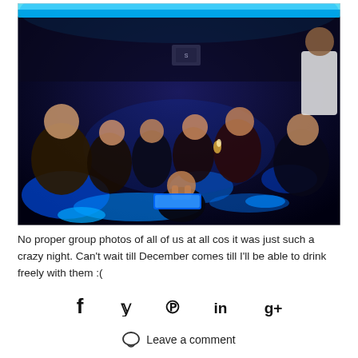[Figure (photo): Group of young people seated in a dark club/bar setting with blue neon lighting. Several people are smiling and posing for the photo. One person is standing in the back right wearing a white Tokyo shirt. The room is dimly lit with blue LED accents.]
No proper group photos of all of us at all cos it was just such a crazy night. Can't wait till December comes till I'll be able to drink freely with them :(
[Figure (infographic): Social share icons: Facebook (f), Twitter (bird/y), Pinterest (p), LinkedIn (in), Google+ (g+)]
Leave a comment